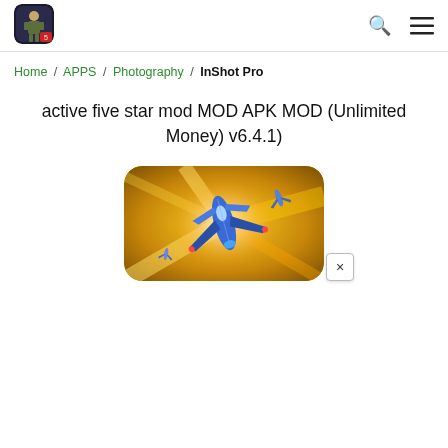Logo / Search / Menu navigation header
Home / APPS / Photography / InShot Pro
active five star mod MOD APK MOD (Unlimited Money) v6.4.1)
[Figure (screenshot): Game app icon showing a blue mecha/robot spacecraft on a gold background with yellow light beams, with a close (×) button overlay at bottom right]